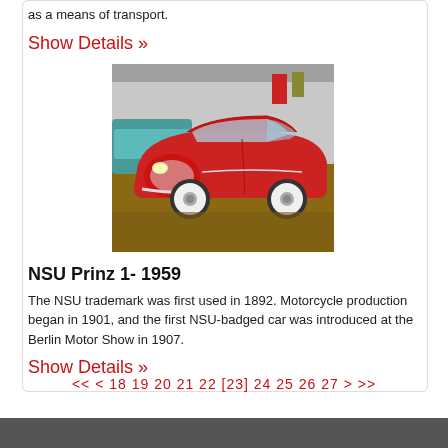as a means of transport.
Show Details »
[Figure (photo): Red NSU Prinz 1 car from 1959 displayed in what appears to be an automobile museum, front-three-quarter view showing chrome grille, white-wall tires.]
NSU Prinz 1- 1959
The NSU trademark was first used in 1892. Motorcycle production began in 1901, and the first NSU-badged car was introduced at the Berlin Motor Show in 1907.
Show Details »
<< < 18 19 20 21 22 [23] 24 25 26 27 > >>